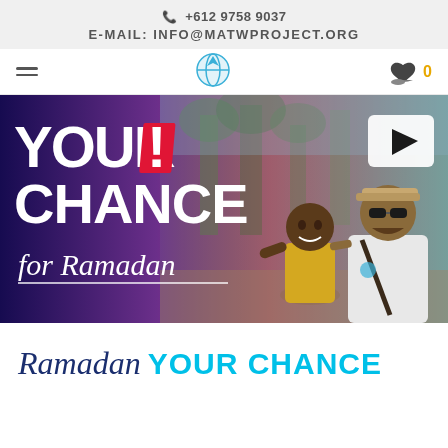📞 +612 9758 9037
E-MAIL: INFO@MATWPROJECT.ORG
[Figure (logo): MATW Project logo - blue diamond/globe icon in navigation bar]
[Figure (photo): Hero banner image: 'YOUR CHANCE for Ramadan' campaign banner with gradient background (purple to pink) and photo of a man and child smiling together outdoors. Includes a white play button in the top right.]
Ramadan Your Chance